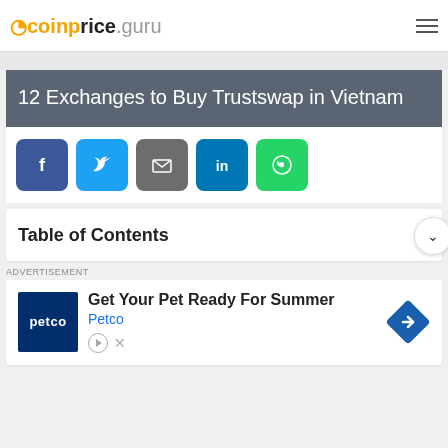coinprice.guru
12 Exchanges to Buy Trustswap in Vietnam
[Figure (infographic): Social sharing buttons: Facebook (blue), Twitter (light blue), Email (gray), LinkedIn (dark blue), WhatsApp (green)]
Table of Contents
ADVERTISEMENT
[Figure (infographic): Petco advertisement: Get Your Pet Ready For Summer - Petco brand logo and navigation arrow icon]